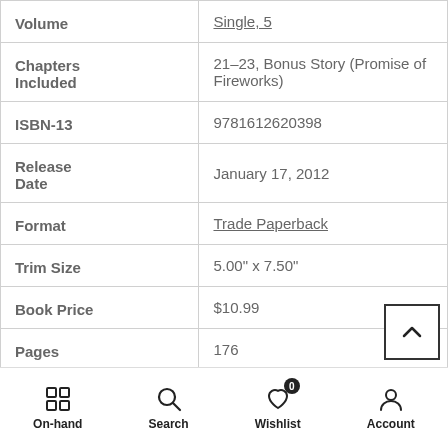| Field | Value |
| --- | --- |
| Volume | Single, 5 |
| Chapters Included | 21-23, Bonus Story (Promise of Fireworks) |
| ISBN-13 | 9781612620398 |
| Release Date | January 17, 2012 |
| Format | Trade Paperback |
| Trim Size | 5.00" x 7.50" |
| Book Price | $10.99 |
| Pages | 176 |
On-hand  Search  Wishlist (0)  Account